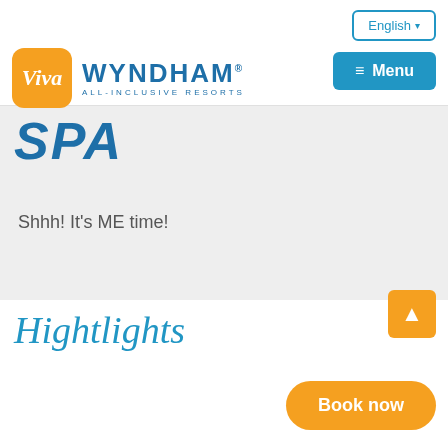English ▾
[Figure (logo): Viva Wyndham All-Inclusive Resorts logo with orange Viva box and blue Wyndham text]
≡ Menu
SPA
Shhh!  It's ME time!
Hightlights
[Figure (other): Orange scroll-to-top button with upward arrow]
[Figure (other): Orange Book now button]